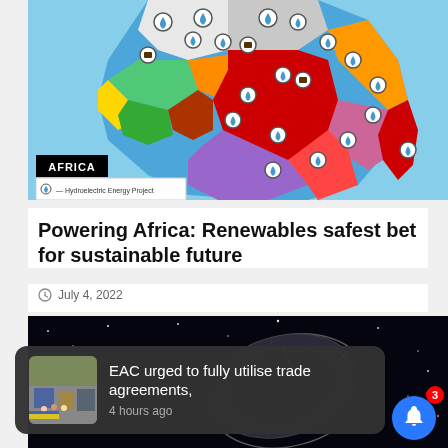[Figure (map): Colorful political map of Africa showing hydroelectric energy project locations marked with water drop icons across various countries. Label 'AFRICA' in black box at bottom left, with legend showing 'Hydroelectric Energy Project'.]
Powering Africa: Renewables safest bet for sustainable future
July 4, 2022
[Figure (screenshot): Dark space background showing a satellite dish/spacecraft image with an X close button on the right side. Part of a video or advertisement overlay.]
EAC urged to fully utilise trade agreements, 4 hours ago